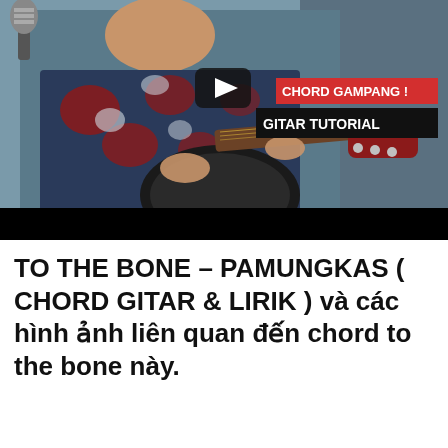[Figure (screenshot): YouTube video thumbnail showing a young man in a floral shirt playing an acoustic guitar with a red headstock at a microphone. Overlaid text in a red box reads 'CHORD GAMPANG !' and in a black box reads 'GITAR TUTORIAL'. A YouTube play button is visible in the upper center area. The bottom of the thumbnail has a black bar.]
TO THE BONE – PAMUNGKAS ( CHORD GITAR & LIRIK ) và các hình ảnh liên quan đến chord to the bone này.